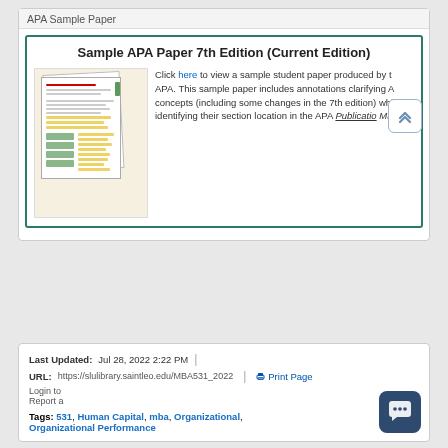APA Sample Paper
Sample APA Paper 7th Edition (Current Edition)
[Figure (illustration): Thumbnail image of a sample APA paper with annotated pages showing colored highlights and margin notes]
Click here to view a sample student paper produced by APA. This sample paper includes annotations clarifying APA concepts (including some changes in the 7th edition) while also identifying their section location in the APA Publication Manual.
Last Updated: Jul 28, 2022 2:22 PM
URL: https://slulibrary.saintleo.edu/MBA531_2022
Print Page
Tags: 531, Human Capital, mba, Organizational, Organizational Performance